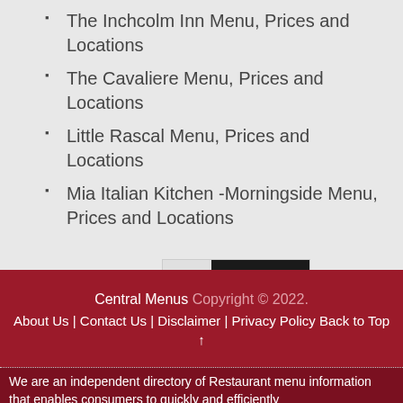The Inchcolm Inn Menu, Prices and Locations
The Cavaliere Menu, Prices and Locations
Little Rascal Menu, Prices and Locations
Mia Italian Kitchen -Morningside Menu, Prices and Locations
[Figure (logo): DMCA PROTECTED badge]
Central Menus Copyright © 2022. About Us | Contact Us | Disclaimer | Privacy Policy Back to Top ↑
We are an independent directory of Restaurant menu information that enables consumers to quickly and efficiently